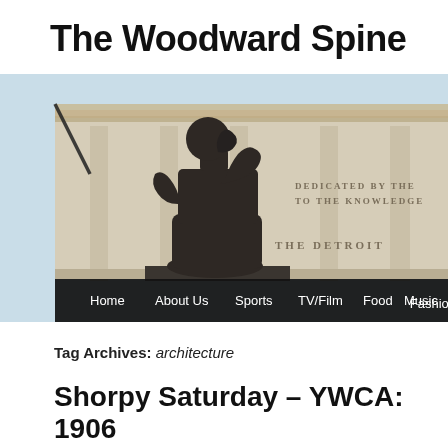The Woodward Spine
[Figure (photo): Rodin's 'The Thinker' sculpture positioned in front of the Detroit Institute of Arts building. The neoclassical stone facade is visible behind the bronze statue, with engraved text reading 'DEDICATED BY THE' and 'TO THE KNOWLEDGE' and 'THE DETROIT'. A navigation bar at the bottom of the image contains menu items: Home, About Us, Sports, TV/Film, Food, Music, Fashion.]
Tag Archives: architecture
Shorpy Saturday – YWCA: 1906